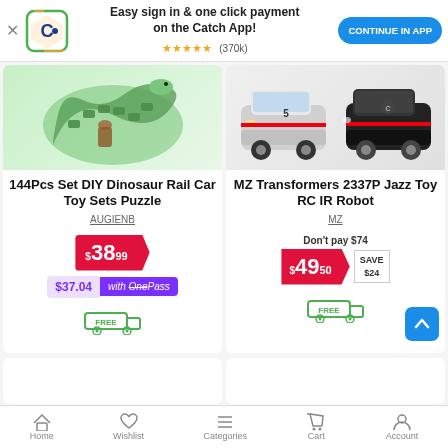[Figure (screenshot): Catch app banner with logo, 'Easy sign in & one click payment on the Catch App!', star rating (370k), and CONTINUE IN APP button]
[Figure (photo): 144Pcs Set DIY Dinosaur Rail Car Toy Sets Puzzle product image showing green serpentine/dinosaur track toy]
144Pcs Set DIY Dinosaur Rail Car Toy Sets Puzzle
AUGIENB
$38.99
$37.04 with OnePass
[Figure (illustration): Free delivery truck icon in green]
[Figure (photo): MZ Transformers 2337P Jazz Toy RC IR Robot product image showing two toy cars]
MZ Transformers 2337P Jazz Toy RC IR Robot
MZ
Don't pay $74
$49.50 SAVE $24
[Figure (illustration): Free delivery truck icon in green]
Home  Wishlist  Categories  Cart  Account